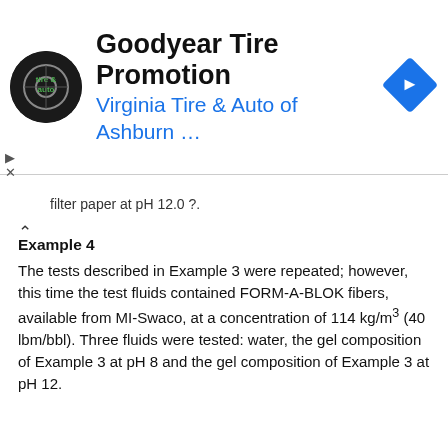[Figure (screenshot): Goodyear Tire Promotion advertisement banner for Virginia Tire & Auto of Ashburn with logo and navigation icon]
filter paper at pH 12.0 ?.
Example 4
The tests described in Example 3 were repeated; however, this time the test fluids contained FORM-A-BLOK fibers, available from MI-Swaco, at a concentration of 114 kg/m³ (40 lbm/bbl). Three fluids were tested: water, the gel composition of Example 3 at pH 8 and the gel composition of Example 3 at pH 12.
In each case 300 mL of fiber-laden fluid was placed in the 500-mL pressure fluid-loss cell containing a 60-μm pore size ceramic disk. The rates at which the fluids passed through the filtration medium at 2.1 MPa are shown in FIG. 2. In the figure, IPC denotes the polyacrylamide/polyvinylpyrrolidone gel system. The durations of the filtration tests were up to 60 min.
In the absence of polyacrylamide and polyvinylpyrrolidone, the water passed through the filtration medium within less than one minute, indicating that the fibers alone have little or no ability to control filtration. Improved filtration control was observed when the IPC system was present as pH 8. Filtration was essentially stopped within 10 minutes when the IPC system